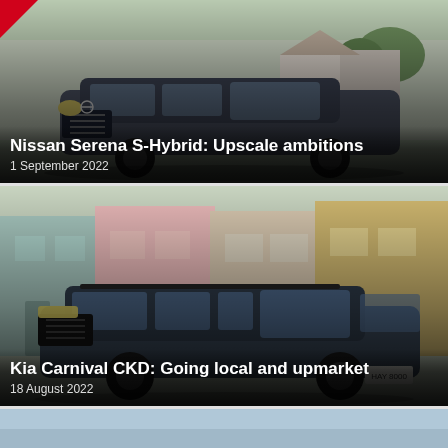[Figure (photo): Nissan Serena S-Hybrid minivan in dark grey, parked in a suburban setting with trees and houses in background. Red triangular badge in top-left corner.]
Nissan Serena S-Hybrid: Upscale ambitions
1 September 2022
[Figure (photo): Kia Carnival CKD in dark blue/grey, parked on a street with colourful pastel-painted shophouses in the background.]
Kia Carnival CKD: Going local and upmarket
18 August 2022
[Figure (photo): Partial view of a third car article card, cut off at the bottom of the page, showing a light blue sky background.]